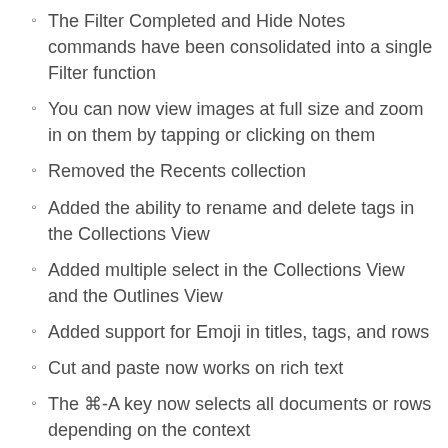The Filter Completed and Hide Notes commands have been consolidated into a single Filter function
You can now view images at full size and zoom in on them by tapping or clicking on them
Removed the Recents collection
Added the ability to rename and delete tags in the Collections View
Added multiple select in the Collections View and the Outlines View
Added support for Emoji in titles, tags, and rows
Cut and paste now works on rich text
The ⌘-A key now selects all documents or rows depending on the context
The up and down shortcut keys, control-p and